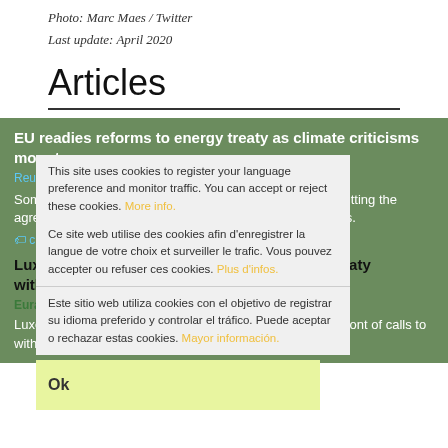Photo: Marc Maes / Twitter
Last update: April 2020
Articles
EU readies reforms to energy treaty as climate criticisms mount
Reuters | 16-Feb-2021
Some governments have said the bloc should consider quitting the agreement because the treaty could threaten climate goals.
climate, ECT, energy, EU, investor-state disputes | ISDS
Luxembourg backtracks on Energy Charter Treaty withdrawal By Frédéric Simon
Euractiv | 10-Feb-2021
Luxembourg's energy minister who used to be at the forefront of calls to withdraw from the Energy Charter
This site uses cookies to register your language preference and monitor traffic. You can accept or reject these cookies. More info.
Ce site web utilise des cookies afin d'enregistrer la langue de votre choix et surveiller le trafic. Vous pouvez accepter ou refuser ces cookies. Plus d'infos.
Este sitio web utiliza cookies con el objetivo de registrar su idioma preferido y controlar el tráfico. Puede aceptar o rechazar estas cookies. Mayor información.
Ok